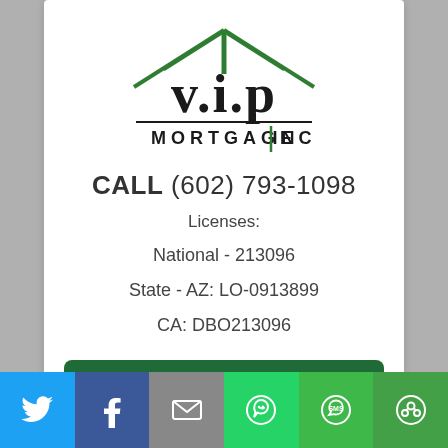[Figure (logo): V.I.P Mortgage Inc logo with green house/roof graphic above text]
CALL (602) 793-1098
Licenses:
National - 213096
State - AZ: LO-0913899
CA: DBO213096
[Figure (other): Green button: GET A RATE QUOTE with circled arrow icon]
Connect with Me!
[Figure (other): Social sharing bar with Twitter, Facebook, Email, WhatsApp, SMS, and Share icons]